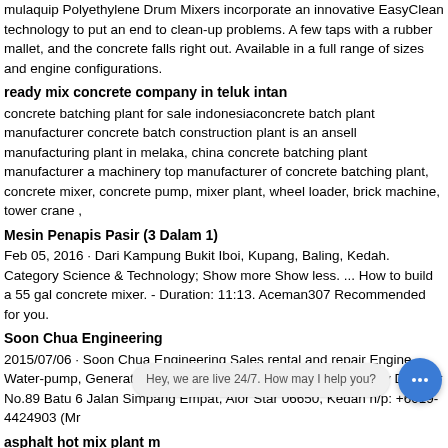mulaquip Polyethylene Drum Mixers incorporate an innovative EasyClean technology to put an end to clean-up problems. A few taps with a rubber mallet, and the concrete falls right out. Available in a full range of sizes and engine configurations.
ready mix concrete company in teluk intan
concrete batching plant for sale indonesiaconcrete batch plant manufacturer concrete batch construction plant is an ansell manufacturing plant in melaka, china concrete batching plant manufacturer a machinery top manufacturer of concrete batching plant, concrete mixer, concrete pump, mixer plant, wheel loader, brick machine, tower crane ,
Mesin Penapis Pasir (3 Dalam 1)
Feb 05, 2016 · Dari Kampung Bukit Iboi, Kupang, Baling, Kedah. Category Science & Technology; Show more Show less. ... How to build a 55 gal concrete mixer. - Duration: 11:13. Aceman307 Recommended for you.
Soon Chua Engineering
2015/07/06 · Soon Chua Engineering Sales rental and repair Engine Water-pump, Generator Concrete Mixer Construction, Machinery Dumper No.89 Batu 6 Jalan Simpang Empat, Alor Star 06650, Kedah h/p: +6019-4424903 (Mr
asphalt hot mix plant m
wet mobile 225 t/h concrete batching production plant. mobile 160 t/h asphalt